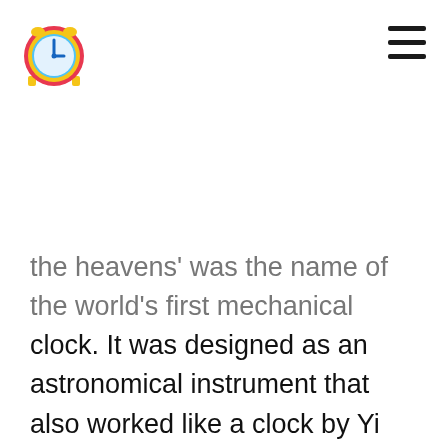[Figure (logo): Alarm clock emoji icon - circular clock face with blue clock face, red alarm bells on top, yellow body]
[Figure (other): Hamburger menu icon - three horizontal black lines stacked vertically]
the heavens' was the name of the world's first mechanical clock. It was designed as an astronomical instrument that also worked like a clock by Yi Xing, a Buddhist mathematician, and monk, in 725 AD. Tower clocks erected in the region spanning northern Italy to southern Germany between 1270 and 1300 are regarded to be the world's earliest mechanical clocks. These clocks did not have dials or hands but instead used bells to tell the time. Mechanical alarm clocks with user-adjustable settings have been used